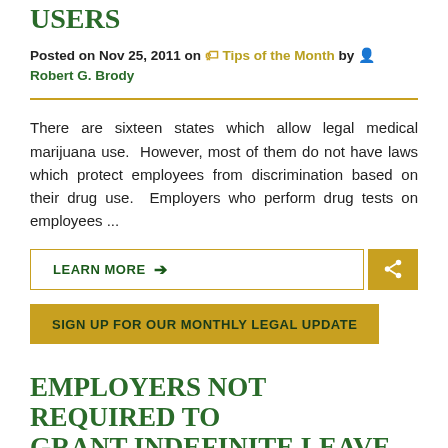USERS
Posted on Nov 25, 2011 on Tips of the Month by Robert G. Brody
There are sixteen states which allow legal medical marijuana use. However, most of them do not have laws which protect employees from discrimination based on their drug use. Employers who perform drug tests on employees ...
LEARN MORE →
SIGN UP FOR OUR MONTHLY LEGAL UPDATE
EMPLOYERS NOT REQUIRED TO GRANT INDEFINITE LEAVE